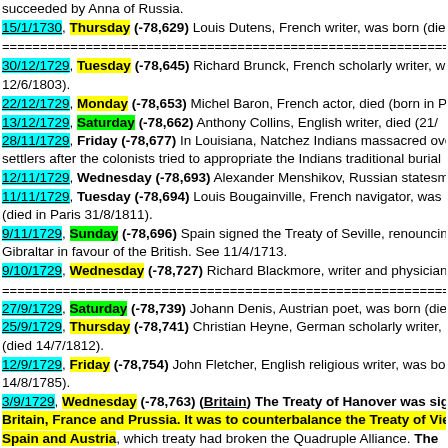succeeded by Anna of Russia.
15/1/1730, Thursday (-78,629) Louis Dutens, French writer, was born (die
===separator===
30/12/1729, Tuesday (-78,645) Richard Brunck, French scholarly writer, w 12/6/1803).
22/12/1729, Monday (-78,653) Michel Baron, French actor, died (born in P
13/12/1729, Saturday (-78,662) Anthony Collins, English writer, died (21/
28/11/1729, Friday (-78,677) In Louisiana, Natchez Indians massacred ove settlers after the colonists tried to appropriate the Indians traditional burial
12/11/1729, Wednesday (-78,693) Alexander Menshikov, Russian statesma
11/11/1729, Tuesday (-78,694) Louis Bougainville, French navigator, was (died in Paris 31/8/1811).
9/11/1729, Sunday (-78,696) Spain signed the Treaty of Seville, renouncing Gibraltar in favour of the British. See 11/4/1713.
9/10/1729, Wednesday (-78,727) Richard Blackmore, writer and physician
===separator===
27/9/1729, Saturday (-78,739) Johann Denis, Austrian poet, was born (die
25/9/1729, Thursday (-78,741) Christian Heyne, German scholarly writer, (died 14/7/1812).
12/9/1729, Friday (-78,754) John Fletcher, English religious writer, was bo 14/8/1785).
3/9/1729, Wednesday (-78,763) (Britain) The Treaty of Hanover was sig Britain, France and Prussia. It was to counterbalance the Treaty of Vie Spain and Austria, which treaty had broken the Quadruple Alliance. The was intended to restore the Stuarts to the English throne and to compe return Gibraltar and Minorca to Spain. The Treaty of Hanover was a mu